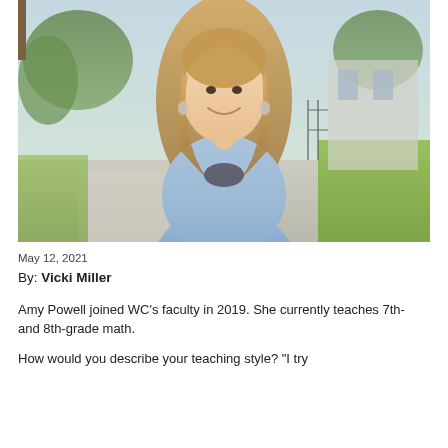[Figure (photo): Portrait photo of a young woman with long blonde hair, wearing a light blue denim shirt over a dark top, smiling outdoors on a campus sidewalk with trees and a building in the background.]
May 12, 2021
By: Vicki Miller
Amy Powell joined WC's faculty in 2019. She currently teaches 7th- and 8th-grade math.
How would you describe your teaching style? "I try